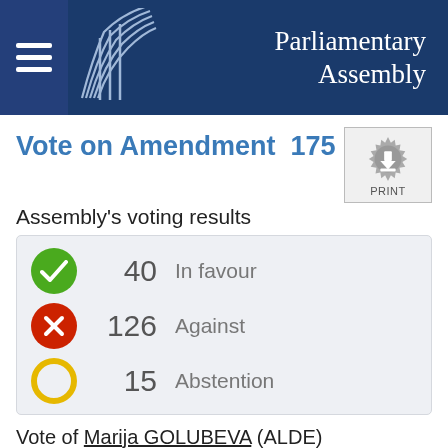Parliamentary Assembly
Vote on Amendment 175
Assembly's voting results
| Icon | Count | Description |
| --- | --- | --- |
| In favour | 40 | In favour |
| Against | 126 | Against |
| Abstention | 15 | Abstention |
Vote of Marija GOLUBEVA (ALDE)
[Figure (photo): Portrait photo of Marija GOLUBEVA]
No vote / Pas de vote